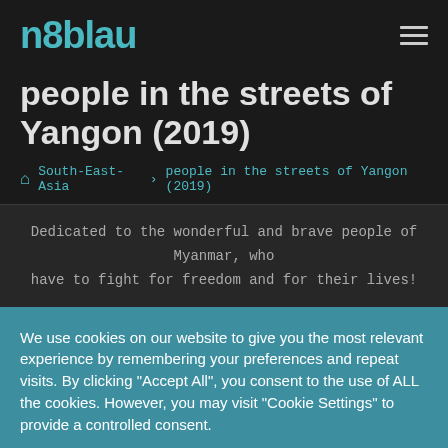n8blau
people in the streets of Yangon (2019)
🏠 South-East-Asia   people in the streets of Yangon (2019)
Dedicated to the wonderful and brave people of Myanmar, who have to fight for freedom and for their lives!
We use cookies on our website to give you the most relevant experience by remembering your preferences and repeat visits. By clicking "Accept All", you consent to the use of ALL the cookies. However, you may visit "Cookie Settings" to provide a controlled consent.